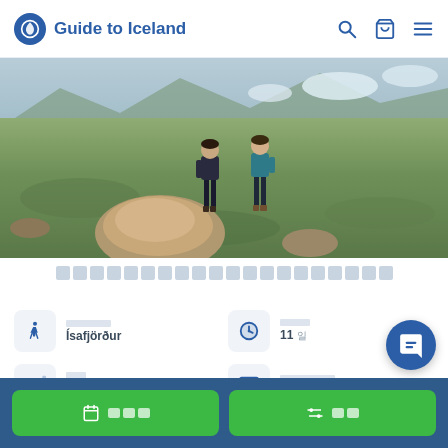Guide to Iceland
[Figure (photo): Two hikers standing on green mossy rocky Highland terrain in Iceland, with snow patches visible in the background]
[Redacted tour title in non-Latin script]
Location: Ísafjörður
Duration: 11 [units]
Difficulty: [star rating - 2 stars]
Languages: English, Icelandic
[Book button]
[Filter button]